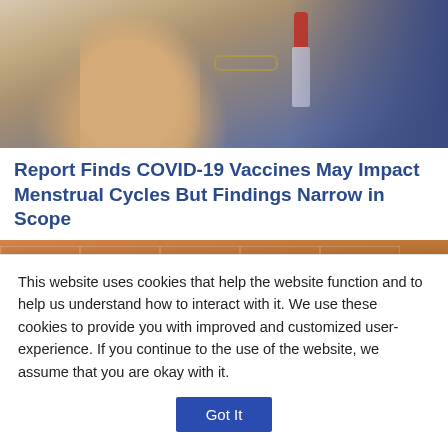[Figure (photo): Close-up photo of a hand holding a medical vial or test tube, possibly related to COVID-19 vaccine or lab sample.]
Report Finds COVID-19 Vaccines May Impact Menstrual Cycles But Findings Narrow in Scope
[Figure (photo): Press conference photo showing multiple people wearing masks standing in front of Howard Brown Health branded backdrop.]
This website uses cookies that help the website function and to help us understand how to interact with it. We use these cookies to provide you with improved and customized user-experience. If you continue to the use of the website, we assume that you are okay with it.
Got It